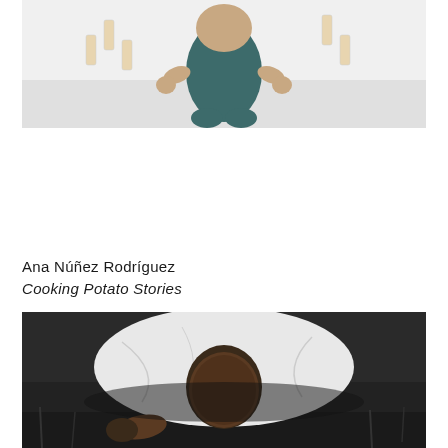[Figure (photo): Top-down view of a baby or child lying on a white surface surrounded by wooden domino pieces]
Ana Núñez Rodríguez
Cooking Potato Stories
[Figure (photo): Black and white photograph of a person lying on grass, shot from above, wearing white clothing]